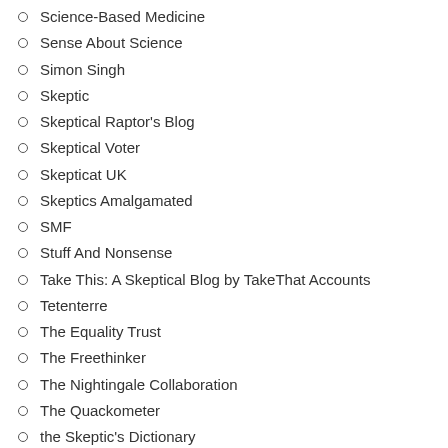Science-Based Medicine
Sense About Science
Simon Singh
Skeptic
Skeptical Raptor's Blog
Skeptical Voter
Skepticat UK
Skeptics Amalgamated
SMF
Stuff And Nonsense
Take This: A Skeptical Blog by TakeThat Accounts
Tetenterre
The Equality Trust
The Freethinker
The Nightingale Collaboration
The Quackometer
the Skeptic's Dictionary
The SkeptVet